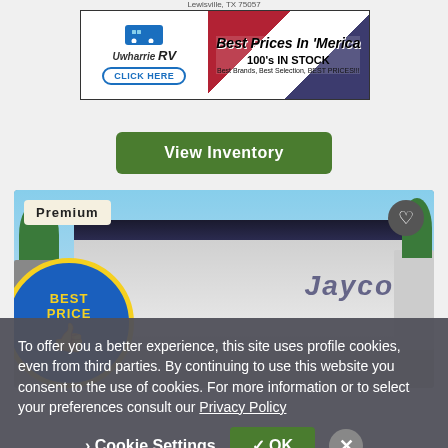Lewisville, TX 75057
[Figure (illustration): Uwharrie RV advertisement banner with logo on left, 'Best Prices In Merica' text and American flag imagery on right, 100's IN STOCK, Best Brands, Best Selection, BEST PRICES!!!]
[Figure (screenshot): Green 'View Inventory' button]
[Figure (photo): Jayco RV fifth wheel trailer in a dealership lot with blue sky background, 'Premium' badge top left, heart icon top right, 'BEST PRICE' circular badge bottom left]
To offer you a better experience, this site uses profile cookies, even from third parties. By continuing to use this website you consent to the use of cookies. For more information or to select your preferences consult our Privacy Policy
› Cookie Settings   ✓ OK   ×